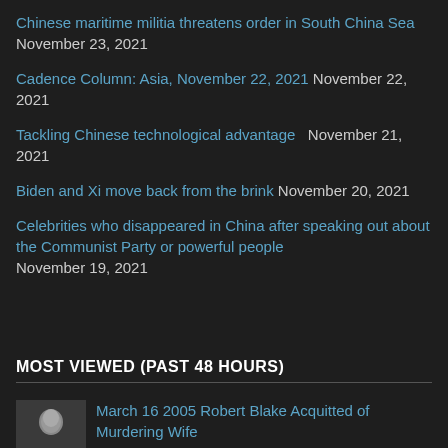Chinese maritime militia threatens order in South China Sea November 23, 2021
Cadence Column: Asia, November 22, 2021 November 22, 2021
Tackling Chinese technological advantage November 21, 2021
Biden and Xi move back from the brink November 20, 2021
Celebrities who disappeared in China after speaking out about the Communist Party or powerful people November 19, 2021
MOST VIEWED (PAST 48 HOURS)
March 16 2005 Robert Blake Acquitted of Murdering Wife